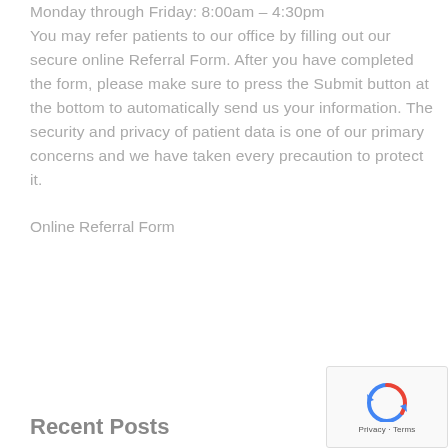Monday through Friday: 8:00am – 4:30pm You may refer patients to our office by filling out our secure online Referral Form. After you have completed the form, please make sure to press the Submit button at the bottom to automatically send us your information. The security and privacy of patient data is one of our primary concerns and we have taken every precaution to protect it.
Online Referral Form
Recent Posts
[Figure (other): reCAPTCHA widget showing a circular arrows icon with 'Privacy - Terms' text below]